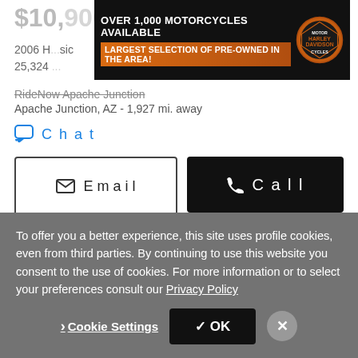$10,900
[Figure (infographic): Harley-Davidson ad banner: OVER 1,000 MOTORCYCLES AVAILABLE / LARGEST SELECTION OF PRE-OWNED IN THE AREA! with Harley-Davidson Motor Cycles logo]
2006 H...sic
25,324 ...
RideNow Apache Junction
Apache Junction, AZ - 1,927 mi. away
Chat
Email
Call
Video chat with this dealer
View our 35 other RideNow Powersports locations
Look Now
To offer you a better experience, this site uses profile cookies, even from third parties. By continuing to use this website you consent to the use of cookies. For more information or to select your preferences consult our Privacy Policy
Cookie Settings
✓ OK